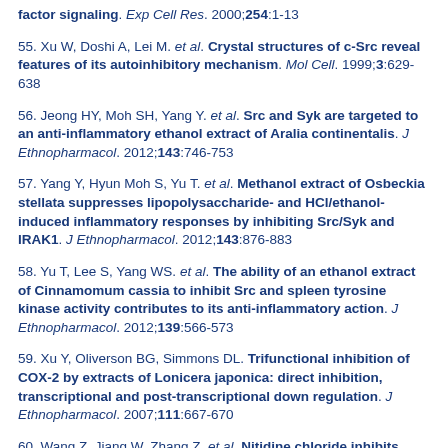factor signaling. Exp Cell Res. 2000;254:1-13
55. Xu W, Doshi A, Lei M. et al. Crystal structures of c-Src reveal features of its autoinhibitory mechanism. Mol Cell. 1999;3:629-638
56. Jeong HY, Moh SH, Yang Y. et al. Src and Syk are targeted to an anti-inflammatory ethanol extract of Aralia continentalis. J Ethnopharmacol. 2012;143:746-753
57. Yang Y, Hyun Moh S, Yu T. et al. Methanol extract of Osbeckia stellata suppresses lipopolysaccharide- and HCl/ethanol-induced inflammatory responses by inhibiting Src/Syk and IRAK1. J Ethnopharmacol. 2012;143:876-883
58. Yu T, Lee S, Yang WS. et al. The ability of an ethanol extract of Cinnamomum cassia to inhibit Src and spleen tyrosine kinase activity contributes to its anti-inflammatory action. J Ethnopharmacol. 2012;139:566-573
59. Xu Y, Oliverson BG, Simmons DL. Trifunctional inhibition of COX-2 by extracts of Lonicera japonica: direct inhibition, transcriptional and post-transcriptional down regulation. J Ethnopharmacol. 2007;111:667-670
60. Wang Z, Jiang W, Zhang Z. et al. Nitidine chloride inhibits LPS-induced inflammatory cytokines production via MAPK and NF-kappaB pathway in RAW 264.7 cells. J Ethnopharmacol. 2012;144:145-150
61. Li F, Fernandez PP, Rajendran P. et al. Diosgenin, a steroidal saponin, inhibits STAT3 signaling pathway leading to suppression of